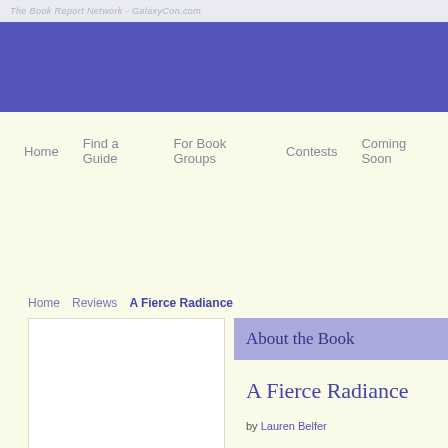The Book Report Network - GalaxyCon.com
[Figure (other): Blue banner header area for The Book Report Network website]
Home | Find a Guide | For Book Groups | Contests | Coming Soon
Home  Reviews  A Fierce Radiance
About the Book
A Fierce Radiance
by Lauren Belfer